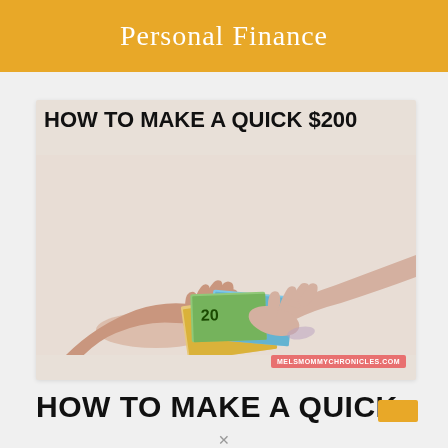Personal Finance
[Figure (photo): Two hands exchanging Euro banknotes (50 and 10 Euro notes) against a light background, with overlaid text 'HOW TO MAKE A QUICK $200' and watermark 'MELSMOMMYCHRONICLES.COM']
HOW TO MAKE A QUICK